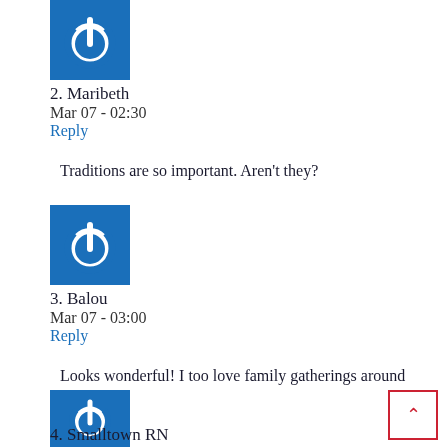[Figure (illustration): Blue square avatar with white power button icon (comment 2, Maribeth)]
2. Maribeth
Mar 07 - 02:30
Reply
Traditions are so important. Aren't they?
[Figure (illustration): Blue square avatar with white power button icon (comment 3, Balou)]
3. Balou
Mar 07 - 03:00
Reply
Looks wonderful! I too love family gatherings around the table.
[Figure (illustration): Blue square avatar with white power button icon (comment 4, Smalltown RN)]
4. Smalltown RN